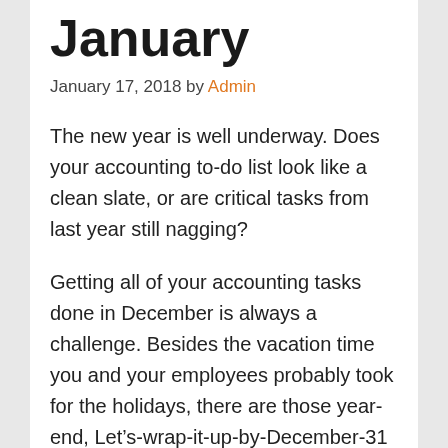January
January 17, 2018 by Admin
The new year is well underway. Does your accounting to-do list look like a clean slate, or are critical tasks from last year still nagging?
Getting all of your accounting tasks done in December is always a challenge. Besides the vacation time you and your employees probably took for the holidays, there are those year-end, Let’s-wrap-it-up-by-December-31 projects.